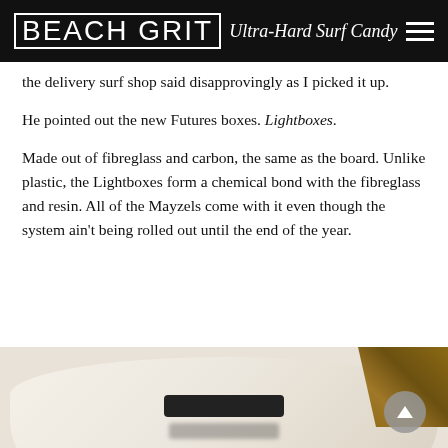BEACH GRIT Ultra-Hard Surf Candy
the delivery surf shop said disapprovingly as I picked it up.
He pointed out the new Futures boxes. Lightboxes.
Made out of fibreglass and carbon, the same as the board. Unlike plastic, the Lightboxes form a chemical bond with the fibreglass and resin. All of the Mayzels come with it even though the system ain't being rolled out until the end of the year.
[Figure (photo): Close-up photo of a surfboard showing a dark fin box (Futures Lightbox) installed in the board, with wood-grain texture visible in the upper right corner]